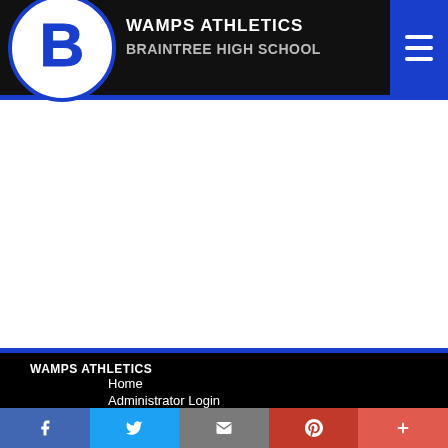WAMPS ATHLETICS BRAINTREE HIGH SCHOOL
[Figure (logo): Braintree Wamps B logo — blue B inside a circle with blue outline on white background]
WAMPS ATHLETICS
Home
Administrator Login